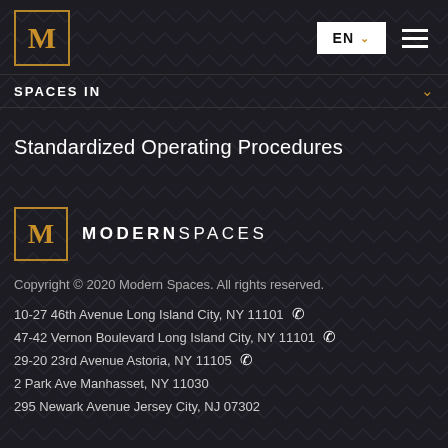[Figure (logo): Modern Spaces logo — gold M in bordered box — top left header]
[Figure (screenshot): EN language selector button with dropdown arrow and hamburger menu icon]
SPACES IN
Standardized Operating Procedures
[Figure (logo): Modern Spaces footer logo — gold M in bordered box with MODERNSPACES text]
Copyright © 2020 Modern Spaces. All rights reserved.
10-27 46th Avenue Long Island City, NY 11101
47-42 Vernon Boulevard Long Island City, NY 11101
29-20 23rd Avenue Astoria, NY 11105
2 Park Ave Manhasset, NY 11030
295 Newark Avenue Jersey City, NJ 07302